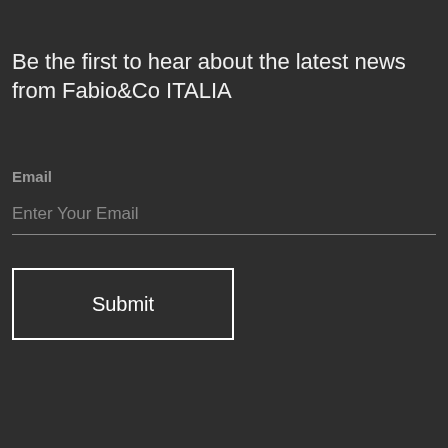Be the first to hear about the latest news from Fabio&Co ITALIA
Email
Enter Your Email
Submit